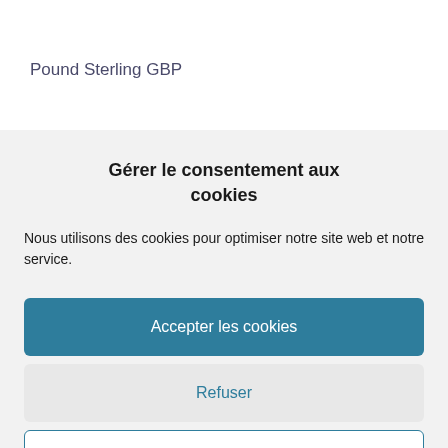Pound Sterling GBP
Gérer le consentement aux cookies
Nous utilisons des cookies pour optimiser notre site web et notre service.
Accepter les cookies
Refuser
Voir les préférences